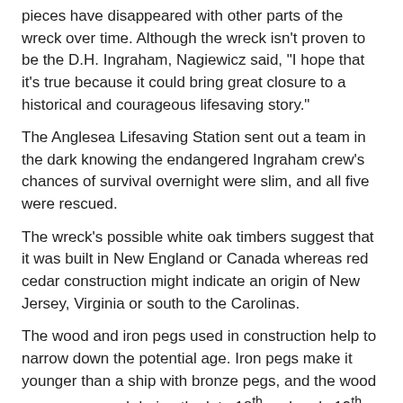pieces have disappeared with other parts of the wreck over time. Although the wreck isn't proven to be the D.H. Ingraham, Nagiewicz said, "I hope that it's true because it could bring great closure to a historical and courageous lifesaving story."
The Anglesea Lifesaving Station sent out a team in the dark knowing the endangered Ingraham crew's chances of survival overnight were slim, and all five were rescued.
The wreck's possible white oak timbers suggest that it was built in New England or Canada whereas red cedar construction might indicate an origin of New Jersey, Virginia or south to the Carolinas.
The wood and iron pegs used in construction help to narrow down the potential age. Iron pegs make it younger than a ship with bronze pegs, and the wood pegs were used during the late 18th and early 19th centuries as a less expensive option to metal pegs.
Additionally, “there was some evidence of copper sheathing which was used to protect the ship's hull from damage from wood-boring animals and worms that eat the cellulose in the wood,” he added.
The wood can be dated by analyzing a core sample drilled from a piece of the remains with at least 70 rings of seasonal growth. Counting the rings reveals the age of the wood.